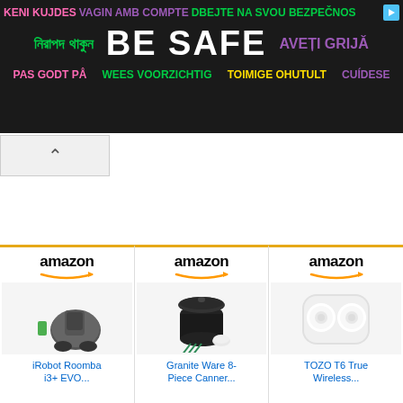[Figure (infographic): Safety awareness banner advertisement with multilingual 'Be Safe' messages in various colors on dark background. Languages include Albanian, Catalan, Czech, Bengali, English, Romanian, Danish, Dutch, Estonian, Estonian, Spanish.]
[Figure (infographic): Three Amazon product advertisement cards side by side: iRobot Roomba i3+ EVO, Granite Ware 8-Piece Canner, TOZO T6 True Wireless earbuds. Each card has Amazon logo with orange arrow, product image, and product name in blue text.]